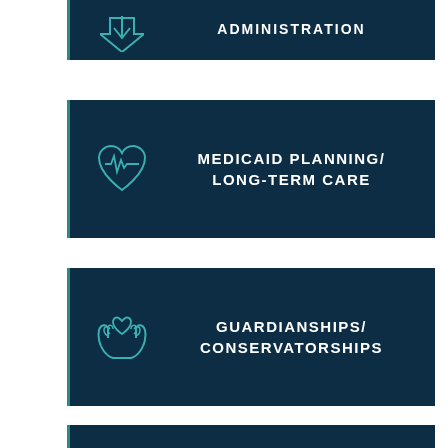[Figure (infographic): Dark navy card with downward arrow icon and text ADMINISTRATION (partially visible at top)]
[Figure (infographic): Dark navy card with heartbeat/ECG heart icon and text MEDICAID PLANNING / LONG-TERM CARE]
[Figure (infographic): Dark navy card with hands holding heart icon and text GUARDIANSHIPS / CONSERVATORSHIPS]
[Figure (infographic): Dark navy card with glowing key icon and text ESTATE PLANNING / WILLS & TRUSTS]